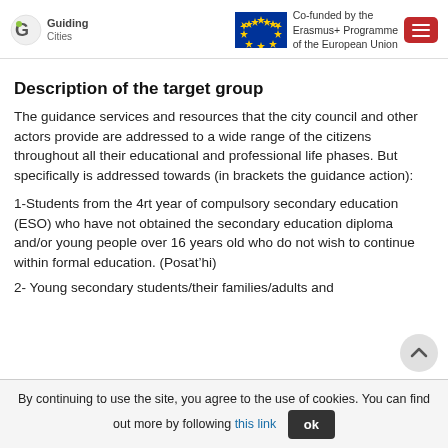Guiding Cities | Co-funded by the Erasmus+ Programme of the European Union
Description of the target group
The guidance services and resources that the city council and other actors provide are addressed to a wide range of the citizens throughout all their educational and professional life phases. But specifically is addressed towards (in brackets the guidance action):
1-Students from the 4rt year of compulsory secondary education (ESO) who have not obtained the secondary education diploma and/or young people over 16 years old who do not wish to continue within formal education. (Posat’hi)
2- Young secondary students/their families/adults and...
By continuing to use the site, you agree to the use of cookies. You can find out more by following this link   ok